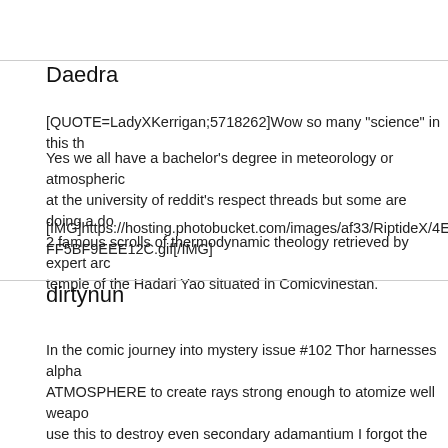Daedra
[QUOTE=LadyXKerrigan;5718262]Wow so many "science" in this th
Yes we all have a bachelor's degree in meteorology or atmospheric at the university of reddit's respect threads but some are doing a do 2 famous scrolls of thermodynamic theology retrieved by expert arc temple of the Hadari Yao situated in Comicvinestan.
[IMG]https://hosting.photobucket.com/images/af33/RiptideX/4E39F0 FF5BF9EEE12C.gif[/IMG]
dirtynun
In the comic journey into mystery issue #102 Thor harnesses alpha ATMOSPHERE to create rays strong enough to atomize well weapo use this to destroy even secondary adamantium I forgot the issue h going to sit here and say that storm has omega level weather manip means that she has an immeasurable upper limit to her power, but c suggested she can do things "outside" the normal conventions of we need to package that omega title and give it to mutants we believe c the laws of nature in regards to the weather. I vote legion or Mr M